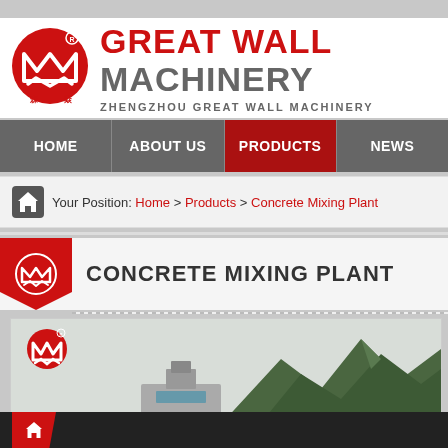[Figure (logo): Great Wall Machinery logo with red circular emblem and brand name]
HOME | ABOUT US | PRODUCTS | NEWS
Your Position: Home > Products > Concrete Mixing Plant
CONCRETE MIXING PLANT
[Figure (photo): Product photo of concrete mixing plant machinery with mountain background]
Home icon footer bar